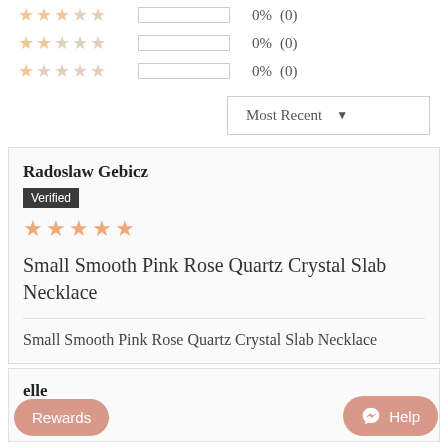★★★☆☆  0%  (0)
★★☆☆☆  0%  (0)
★☆☆☆☆  0%  (0)
Most Recent ▼
Radoslaw Gebicz
Verified
★★★★★
Small Smooth Pink Rose Quartz Crystal Slab Necklace
Small Smooth Pink Rose Quartz Crystal Slab Necklace
elle
★★★★★
Rewards
Help